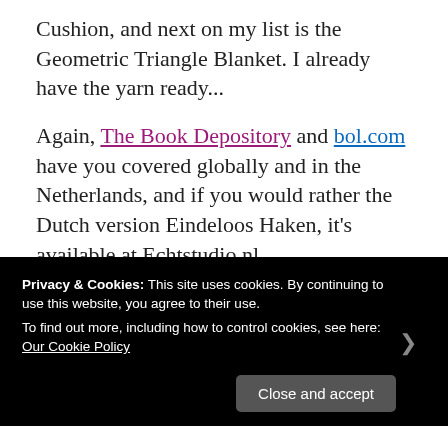Cushion, and next on my list is the Geometric Triangle Blanket. I already have the yarn ready...
Again, The Book Depository and bol.com have you covered globally and in the Netherlands, and if you would rather the Dutch version Eindeloos Haken, it's available at Echtstudio.nl.
So tell me, do you think I might have helped you discover some new gems?  I'd love you to tell me about your favourite
Privacy & Cookies: This site uses cookies. By continuing to use this website, you agree to their use.
To find out more, including how to control cookies, see here: Our Cookie Policy